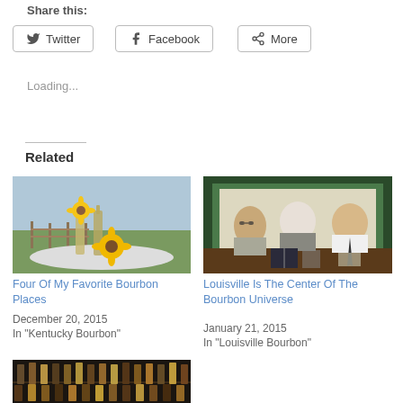Share this:
Twitter
Facebook
More
Loading...
Related
[Figure (photo): Sunflowers in bottles with a farm fence in the background]
Four Of My Favorite Bourbon Places
December 20, 2015
In "Kentucky Bourbon"
[Figure (photo): Three people sitting at a table, one holding a book]
Louisville Is The Center Of The Bourbon Universe
January 21, 2015
In "Louisville Bourbon"
[Figure (photo): Bar shelves with bottles of bourbon]